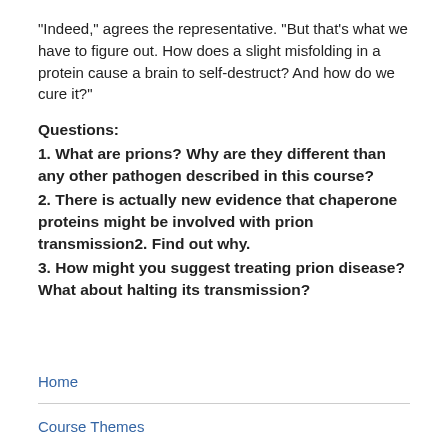“Indeed,” agrees the representative. “But that’s what we have to figure out. How does a slight misfolding in a protein cause a brain to self-destruct? And how do we cure it?”
Questions:
1. What are prions? Why are they different than any other pathogen described in this course?
2. There is actually new evidence that chaperone proteins might be involved with prion transmission2. Find out why.
3. How might you suggest treating prion disease? What about halting its transmission?
Home
Course Themes